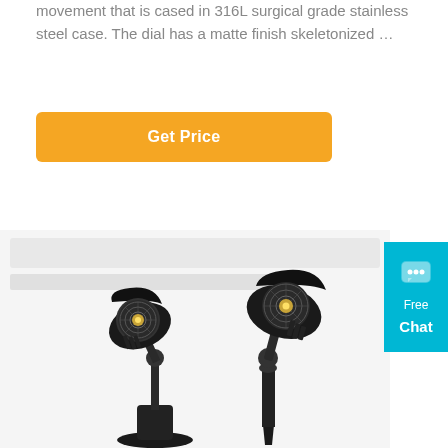movement that is cased in 316L surgical grade stainless steel case. The dial has a matte finish skeletonized …
[Figure (other): Orange 'Get Price' button]
[Figure (photo): Two black LED outdoor spotlight fixtures - one on a base mount and one on a ground spike, both with COB LED elements and adjustable heads]
[Figure (other): Cyan/teal 'Free Chat' button widget on the right side with speech bubble icon]